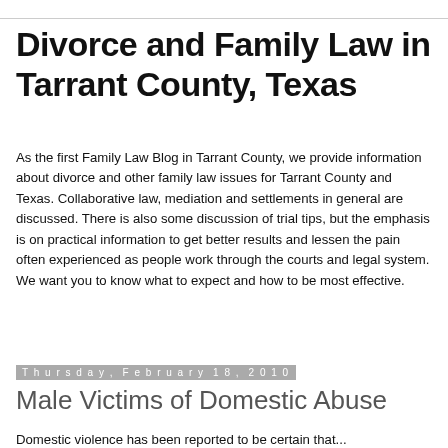Divorce and Family Law in Tarrant County, Texas
As the first Family Law Blog in Tarrant County, we provide information about divorce and other family law issues for Tarrant County and Texas. Collaborative law, mediation and settlements in general are discussed. There is also some discussion of trial tips, but the emphasis is on practical information to get better results and lessen the pain often experienced as people work through the courts and legal system. We want you to know what to expect and how to be most effective.
Thursday, February 18, 2010
Male Victims of Domestic Abuse
Domestic violence has been reported to be certain that...